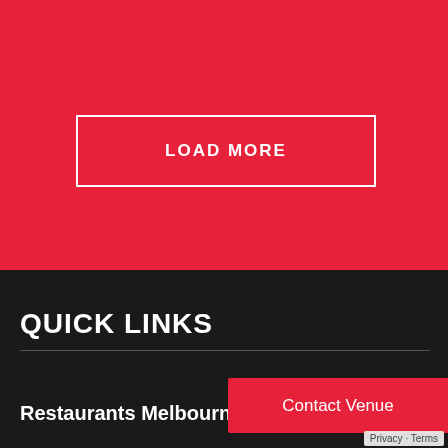[Figure (screenshot): Red background section of a webpage]
LOAD MORE
QUICK LINKS
Restaurants Melbourne
Contact Venue
Privacy - Terms